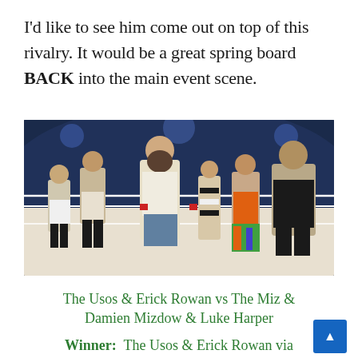I'd like to see him come out on top of this rivalry. It would be a great spring board BACK into the main event scene.
[Figure (photo): Professional wrestling scene showing multiple wrestlers and a referee in a WWE ring. Left side shows wrestlers in white trunks and black boots, center shows a large bearded man in a white tank top and jeans with red wristbands, right side shows wrestlers in orange/colorful attire and a large bald man in black, with a referee in black and white stripes.]
The Usos & Erick Rowan vs The Miz & Damien Mizdow & Luke Harper
Winner:  The Usos & Erick Rowan via